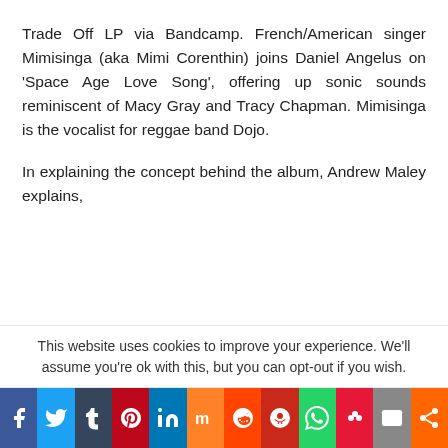Trade Off LP via Bandcamp. French/American singer Mimisinga (aka Mimi Corenthin) joins Daniel Angelus on 'Space Age Love Song', offering up sonic sounds reminiscent of Macy Gray and Tracy Chapman. Mimisinga is the vocalist for reggae band Dojo.
In explaining the concept behind the album, Andrew Maley explains,
“It is all about capturing the moment. Hearing something and it making a difference. Having something that matters to you. Happy or sad. Every Real Experts song is designed to be a
This website uses cookies to improve your experience. We'll assume you're ok with this, but you can opt-out if you wish.